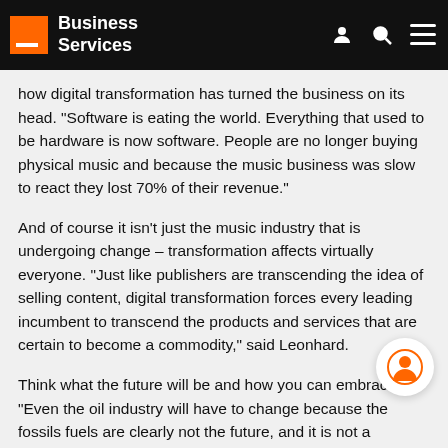Business Services
how digital transformation has turned the business on its head. “Software is eating the world. Everything that used to be hardware is now software. People are no longer buying physical music and because the music business was slow to react they lost 70% of their revenue.”
And of course it isn’t just the music industry that is undergoing change – transformation affects virtually everyone. “Just like publishers are transcending the idea of selling content, digital transformation forces every leading incumbent to transcend the products and services that are certain to become a commodity,” said Leonhard.
Think what the future will be and how you can embrace it. “Even the oil industry will have to change because the fossils fuels are clearly not the future, and it is not a question of if, rather when they will make the switch to renewables.” Tesla for example should be viewed as a technology company not as a car company.